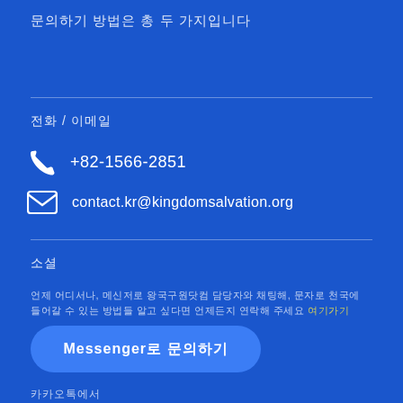문의하기 방법은 총 두 가지입니다
전화 / 이메일
+82-1566-2851
contact.kr@kingdomsalvation.org
소셜
언제 어디서나, 메신저로 왕국구원닷컴 담당자와 채팅해, 문자로 천국에 들어갈 수 있는 방법들 알고 싶다면 언제든지 연락해 주세요 여기가기
Messenger로 문의하기
카카오톡에서